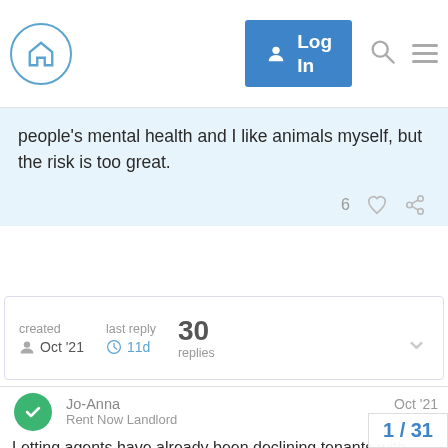[Figure (screenshot): Forum navigation bar with home icon, Log In button, search icon, and hamburger menu]
people's mental health and I like animals myself, but the risk is too great.
6 [likes] [link]
created Oct '21 | last reply 11d | 30 replies
Jo-Anna  Oct '21
Rent Now Landlord
Letting agents have already been declining tenants with pets. I am in the weird position of being both a landlord and tenant, so know the rules. Letting agents have BARRED me from even viewing properties because I said I was getting a pet. The reason? They said it was down to legislation. They aren't allowed to charge a pet deposit, so they ju... owners. They get round it by NOT STATIN...
1 / 31